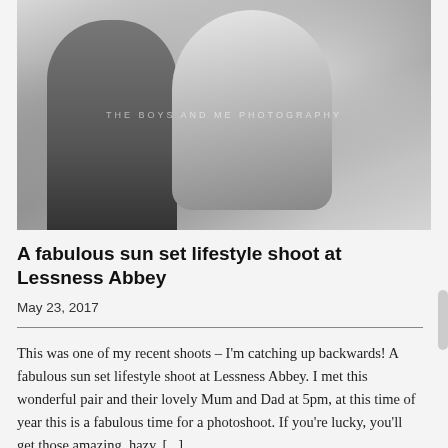[Figure (photo): Black and white lifestyle photograph of two children/people, with a watermark reading 'THE BOYS AND ME PHOTOGRAPHY' overlaid in the center]
A fabulous sun set lifestyle shoot at Lessness Abbey
May 23, 2017
This was one of my recent shoots – I'm catching up backwards! A fabulous sun set lifestyle shoot at Lessness Abbey. I met this wonderful pair and their lovely Mum and Dad at 5pm, at this time of year this is a fabulous time for a photoshoot. If you're lucky, you'll get those amazing, hazy, [...]